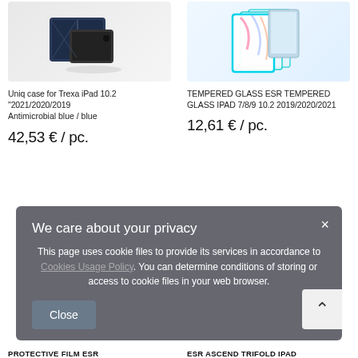[Figure (photo): Uniq case for iPad - dark navy/black folio case product image]
[Figure (photo): Tempered glass ESR screen protector product image showing multiple glass panels]
Uniq case for Trexa iPad 10.2 "2021/2020/2019
Antimicrobial blue / blue
TEMPERED GLASS ESR TEMPERED GLASS IPAD 7/8/9 10.2 2019/2020/2021
42,53 € / pc.
12,61 € / pc.
[Figure (screenshot): Cookie consent popup overlay with semi-transparent dark background]
We care about your privacy
This page uses cookie files to provide its services in accordance to Cookies Usage Policy. You can determine conditions of storing or access to cookie files in your web browser.
Close
PROTECTIVE FILM ESR
ESR ASCEND TRIFOLD IPAD